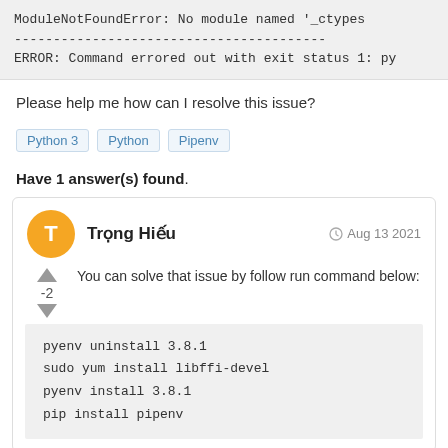ModuleNotFoundError: No module named '_ctypes
----------------------------------------
ERROR: Command errored out with exit status 1: py
Please help me how can I resolve this issue?
Python 3  Python  Pipenv
Have 1 answer(s) found.
Trọng Hiếu  Aug 13 2021
You can solve that issue by follow run command below:
pyenv uninstall 3.8.1
sudo yum install libffi-devel
pyenv install 3.8.1
pip install pipenv